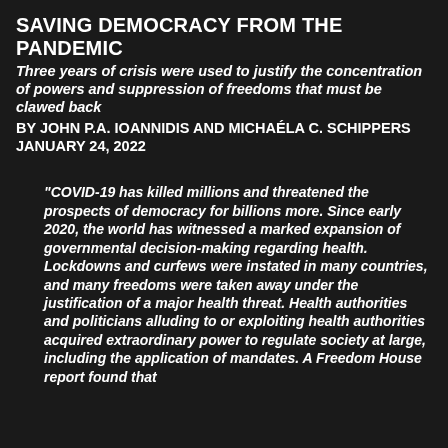SAVING DEMOCRACY FROM THE PANDEMIC
Three years of crisis were used to justify the concentration of powers and suppression of freedoms that must be clawed back
BY JOHN P.A. IOANNIDIS AND MICHAÉLA C. SCHIPPERS JANUARY 24, 2022
"COVID-19 has killed millions and threatened the prospects of democracy for billions more. Since early 2020, the world has witnessed a marked expansion of governmental decision-making regarding health. Lockdowns and curfews were instated in many countries, and many freedoms were taken away under the justification of a major health threat. Health authorities and politicians alluding to or exploiting health authorities acquired extraordinary power to regulate society at large, including the application of mandates. A Freedom House report found that